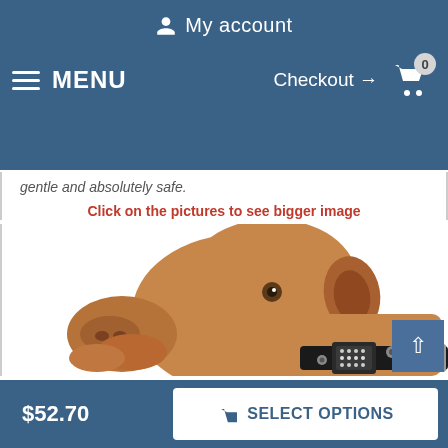My account | MENU | Checkout → 0
gentle and absolutely safe.
Click on the pictures to see bigger image
[Figure (photo): A brown/tan short-haired dog (Pit Bull type) looking upward to the left, wearing a black leather collar decorated with a rhinestone plate and skull studs, photographed against a white background.]
$52.70
SELECT OPTIONS